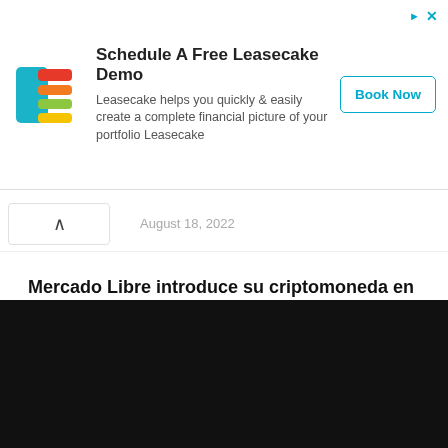[Figure (logo): Leasecake logo — stylized stacked colorful layers icon (teal, red, orange, green, yellow) resembling cake slices]
Schedule A Free Leasecake Demo
Leasecake helps you quickly & easily create a complete financial picture of your portfolio Leasecake
Book Now
August 18, 2022
Mercado Libre introduce su criptomoneda en Brasil con planes de expandirla...
August 18, 2022